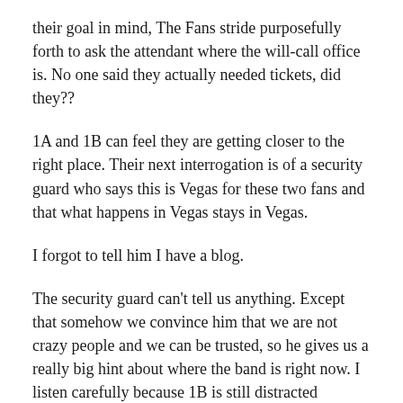their goal in mind, The Fans stride purposefully forth to ask the attendant where the will-call office is. No one said they actually needed tickets, did they??
1A and 1B can feel they are getting closer to the right place. Their next interrogation is of a security guard who says this is Vegas for these two fans and that what happens in Vegas stays in Vegas.
I forgot to tell him I have a blog.
The security guard can't tell us anything. Except that somehow we convince him that we are not crazy people and we can be trusted, so he gives us a really big hint about where the band is right now. I listen carefully because 1B is still distracted because she is worrying that the car will be towed away. I reassure her 50 more times that it will not be towed.